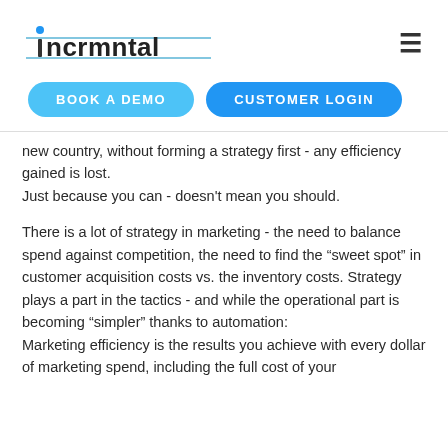incrmntal
BOOK A DEMO   CUSTOMER LOGIN
new country, without forming a strategy first - any efficiency gained is lost.
Just because you can - doesn't mean you should.
There is a lot of strategy in marketing - the need to balance spend against competition, the need to find the “sweet spot” in customer acquisition costs vs. the inventory costs. Strategy plays a part in the tactics - and while the operational part is becoming “simpler” thanks to automation:
Marketing efficiency is the results you achieve with every dollar of marketing spend, including the full cost of your